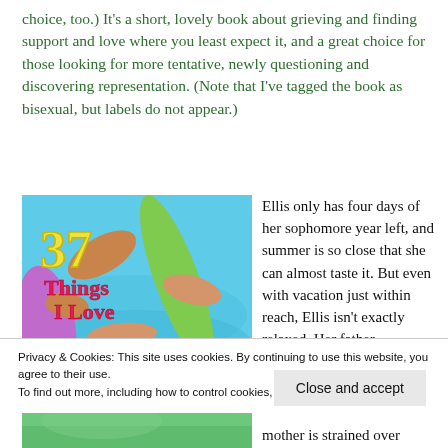choice, too.) It's a short, lovely book about grieving and finding support and love where you least expect it, and a great choice for those looking for more tentative, newly questioning and discovering representation. (Note that I've tagged the book as bisexual, but labels do not appear.)
[Figure (illustration): Book cover of '37 Things I Love' showing people lounging by a pool with pool floats, colorful summer scene. Title in yellow and pink text.]
Ellis only has four days of her sophomore year left, and summer is so close that she can almost taste it. But even with vacation just within reach, Ellis isn't exactly relaxed. Her father
Privacy & Cookies: This site uses cookies. By continuing to use this website, you agree to their use.
To find out more, including how to control cookies, see here: Cookie Policy
Close and accept
mother is strained over